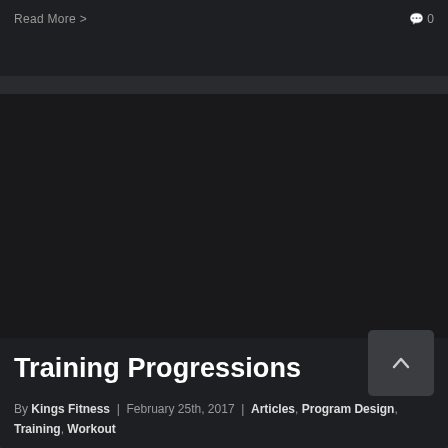Read More >   🗨 0
[Figure (photo): Dark image placeholder area for a fitness blog article card]
Training Progressions
By Kings Fitness | February 25th, 2017 | Articles, Program Design, Training, Workout